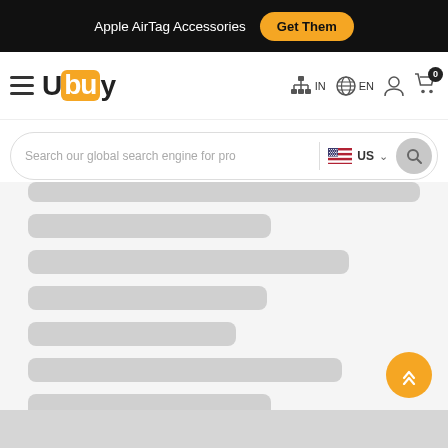[Figure (screenshot): Top promotional banner with black background showing 'Apple AirTag Accessories' text and yellow 'Get Them' button]
[Figure (screenshot): Ubuy e-commerce navigation bar with hamburger menu, Ubuy logo, country selector (IN), language selector (EN), account icon, and cart icon with 0 badge]
[Figure (screenshot): Search bar with placeholder 'Search our global search engine for pro', US flag country selector, and search button]
[Figure (screenshot): Loading skeleton placeholder bars on light gray background representing loading content]
[Figure (screenshot): Orange scroll-to-top circular button with up chevron arrows]
[Figure (screenshot): Gray footer bar at bottom of page]